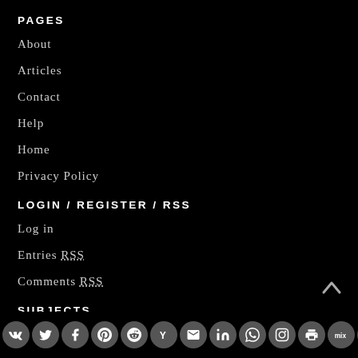PAGES
About
Articles
Contact
Help
Home
Privacy Policy
LOGIN / REGISTER / RSS
Log in
Entries RSS
Comments RSS
SUBJECTS
Africa
Social sharing bar with icons: VK, Twitter, Facebook, Pinterest, Reddit, Yahoo, Email, LinkedIn, WhatsApp, Instagram, Print, Mix, Tumblr, Share